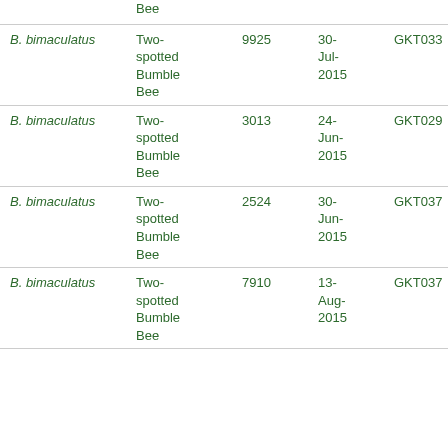| Species | Common Name | ID | Date | Code | Location |
| --- | --- | --- | --- | --- | --- |
|  | Bee |  |  |  |  |
| B. bimaculatus | Two-spotted Bumble Bee | 9925 | 30-Jul-2015 | GKT033 | Gree... |
| B. bimaculatus | Two-spotted Bumble Bee | 3013 | 24-Jun-2015 | GKT029 | Hart... |
| B. bimaculatus | Two-spotted Bumble Bee | 2524 | 30-Jun-2015 | GKT037 | Hart... |
| B. bimaculatus | Two-spotted Bumble Bee | 7910 | 13-Aug-2015 | GKT037 | Hart... |